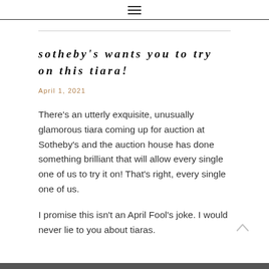☰
sotheby's wants you to try on this tiara!
April 1, 2021
There's an utterly exquisite, unusually glamorous tiara coming up for auction at Sotheby's and the auction house has done something brilliant that will allow every single one of us to try it on! That's right, every single one of us.
I promise this isn't an April Fool's joke. I would never lie to you about tiaras.